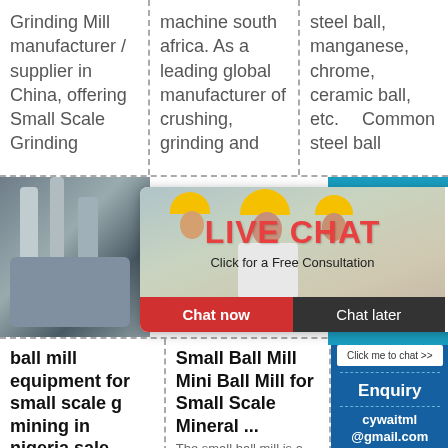Grinding Mill manufacturer / supplier in China, offering Small Scale Grinding
machine south africa. As a leading global manufacturer of crushing, grinding and
steel ball, manganese, chrome, ceramic ball, etc. Common steel ball
[Figure (photo): Industrial equipment with pipes and tanks]
[Figure (photo): Live chat popup overlay with workers in yellow hard hats, red LIVE CHAT text, Click for a Free Consultation subtitle, Chat now and Chat later buttons]
[Figure (infographic): Right sidebar with teal background, 7 hours online text, smiley face with headset customer service icon]
ball mill equipment for small scale g mining in nigeria sale ball mill
Small Ball Mill Mini Ball Mill for Small Scale Mineral ... The small ball mill is a smal
Click me to chat >> Enquiry cywaitml@gmail.com